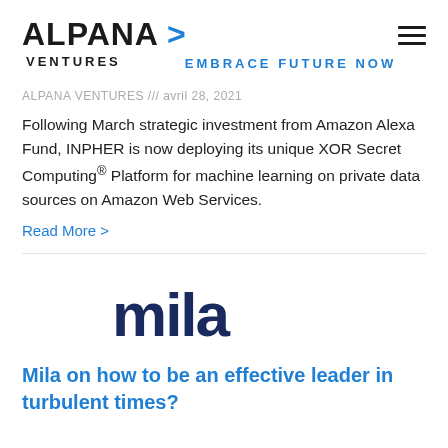ALPANA > VENTURES EMBRACE FUTURE NOW
ALPANA VENTURES /// avril 28, 2021
Following March strategic investment from Amazon Alexa Fund, INPHER is now deploying its unique XOR Secret Computing® Platform for machine learning on private data sources on Amazon Web Services.
Read More >
[Figure (logo): Mila logo in dark navy blue rounded lettering]
Mila on how to be an effective leader in turbulent times?